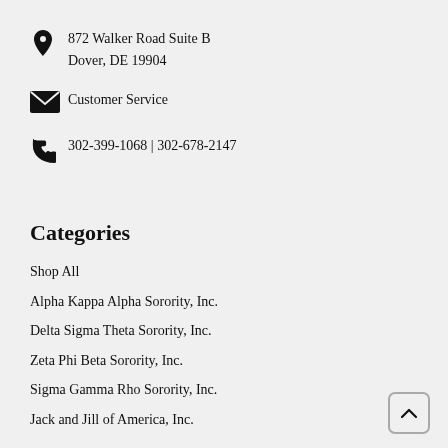872 Walker Road Suite B
Dover, DE 19904
Customer Service
302-399-1068 | 302-678-2147
Categories
Shop All
Alpha Kappa Alpha Sorority, Inc.
Delta Sigma Theta Sorority, Inc.
Zeta Phi Beta Sorority, Inc.
Sigma Gamma Rho Sorority, Inc.
Jack and Jill of America, Inc.